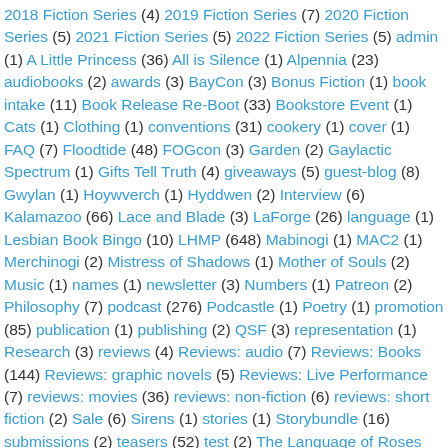2018 Fiction Series (4) 2019 Fiction Series (7) 2020 Fiction Series (5) 2021 Fiction Series (5) 2022 Fiction Series (5) admin (1) A Little Princess (36) All is Silence (1) Alpennia (23) audiobooks (2) awards (3) BayCon (3) Bonus Fiction (1) book intake (11) Book Release Re-Boot (33) Bookstore Event (1) Cats (1) Clothing (1) conventions (31) cookery (1) cover (1) FAQ (7) Floodtide (48) FOGcon (3) Garden (2) Gaylactic Spectrum (1) Gifts Tell Truth (4) giveaways (5) guest-blog (8) Gwylan (1) Hoywverch (1) Hyddwen (2) Interview (6) Kalamazoo (66) Lace and Blade (3) LaForge (26) language (1) Lesbian Book Bingo (10) LHMP (648) Mabinogi (1) MAC2 (1) Merchinogi (2) Mistress of Shadows (1) Mother of Souls (2) Music (1) names (1) newsletter (3) Numbers (1) Patreon (2) Philosophy (7) podcast (276) Podcastle (1) Poetry (1) promotion (85) publication (1) publishing (2) QSF (3) representation (1) Research (3) reviews (4) Reviews: audio (7) Reviews: Books (144) Reviews: graphic novels (5) Reviews: Live Performance (7) reviews: movies (36) reviews: non-fiction (6) reviews: short fiction (2) Sale (6) Sirens (1) stories (1) Storybundle (16) submissions (2) teasers (52) test (2) The Language of Roses (2) the language of roses (6) Through the Hourglass (1) transcript (8) travel (8) Updates (1) Where My Heart Goes (2) Work (1) Worldcon (4) Worldcon75 (12) Worldcon...